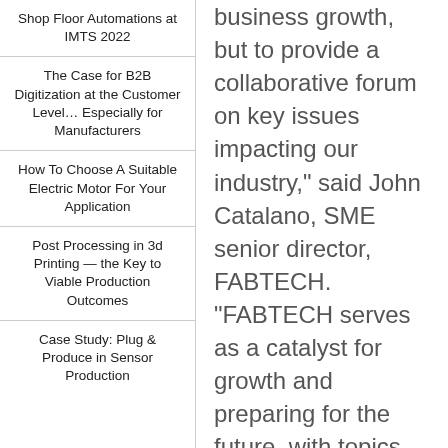Shop Floor Automations at IMTS 2022
The Case for B2B Digitization at the Customer Level… Especially for Manufacturers
How To Choose A Suitable Electric Motor For Your Application
Post Processing in 3d Printing — the Key to Viable Production Outcomes
Case Study: Plug & Produce in Sensor Production
business growth, but to provide a collaborative forum on key issues impacting our industry," said John Catalano, SME senior director, FABTECH. "FABTECH serves as a catalyst for growth and preparing for the future, with topics ranging from marketing and business best practices to IoT, additive manufacturing, smart manufacturing, workforce development and more. Whether it's through